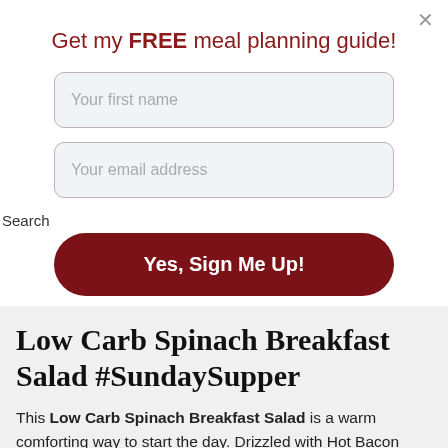Get my FREE meal planning guide!
Your first name
Your email address
Search
Yes, Sign Me Up!
Low Carb Spinach Breakfast Salad #SundaySupper
This Low Carb Spinach Breakfast Salad is a warm comforting way to start the day. Drizzled with Hot Bacon Dressing and topped with a perfectly fried egg, this salad tastes great in addition to being high in protein and low in carbs. Did I mention it's quick and easy to make too?! Winner!